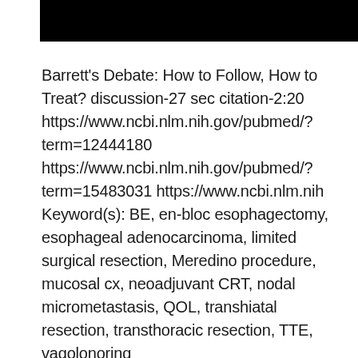[Figure (other): Black rectangular bar at the top of the page, likely a redacted or header image region]
Barrett's Debate: How to Follow, How to Treat? discussion-27 sec citation-2:20 https://www.ncbi.nlm.nih.gov/pubmed/?term=12444180 https://www.ncbi.nlm.nih.gov/pubmed/?term=15483031 https://www.ncbi.nlm.nih Keyword(s): BE, en-bloc esophagectomy, esophageal adenocarcinoma, limited surgical resection, Meredino procedure, mucosal cx, neoadjuvant CRT, nodal micrometastasis, QOL, transhiatal resection, transthoracic resection, TTE, vagolonoring